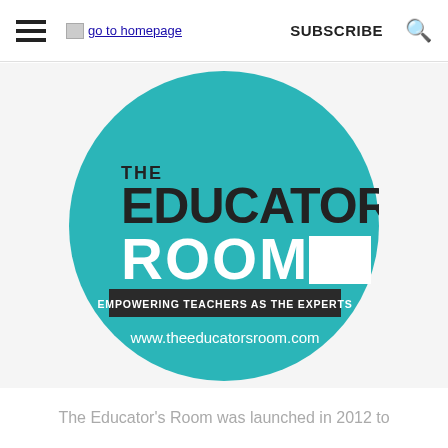go to homepage  SUBSCRIBE  🔍
[Figure (logo): The Educator's Room circular logo on teal background. Text reads: THE EDUCATOR'S ROOM. Tagline: EMPOWERING TEACHERS AS THE EXPERTS. URL: www.theeducatorsroom.com]
The Educator's Room was launched in 2012 to